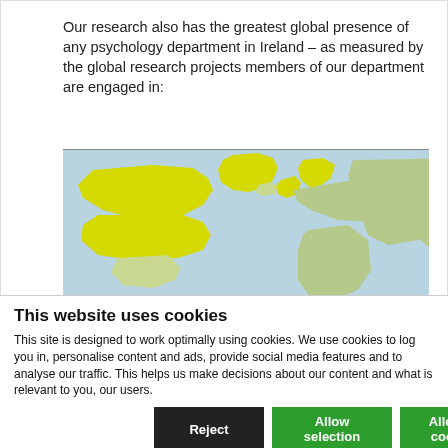Our research also has the greatest global presence of any psychology department in Ireland – as measured by the global research projects members of our department are engaged in:
[Figure (map): World map showing global research presence with highlighted countries in yellow (including North America region and Scandinavia/Northern Europe) on a light blue/green background]
This website uses cookies
This site is designed to work optimally using cookies. We use cookies to log you in, personalise content and ads, provide social media features and to analyse our traffic. This helps us make decisions about our content and what is relevant to you, our users.